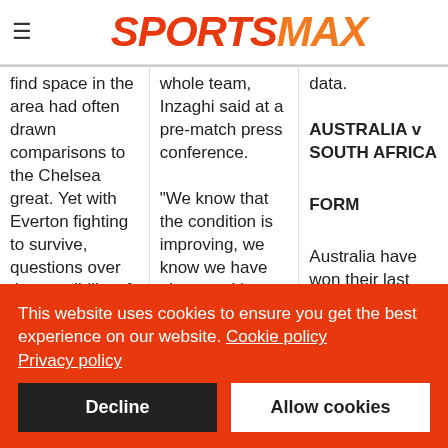SPORTSMAX
find space in the area had often drawn comparisons to the Chelsea great. Yet with Everton fighting to survive, questions over the sensibility of the
whole team, Inzaghi said at a pre-match press conference. "We know that the condition is improving, we know we have players with
data.
AUSTRALIA v SOUTH AFRICA
FORM
Australia have won their last two Tests against South Africa, both in the
This website uses cookies to ensure you get the best experience on our website. Cookie policy Privacy policy
Decline
Allow cookies